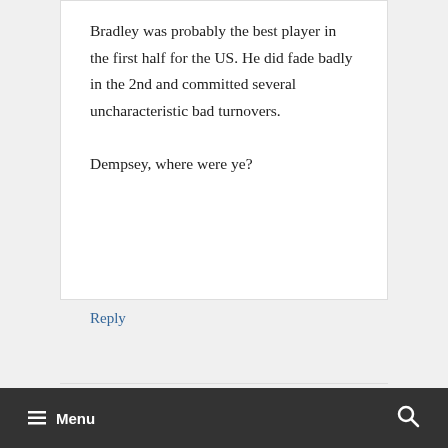Bradley was probably the best player in the first half for the US. He did fade badly in the 2nd and committed several uncharacteristic bad turnovers.

Dempsey, where were ye?
Reply
Dennis
January 28, 2015 at 10:44 pm
≡ Menu